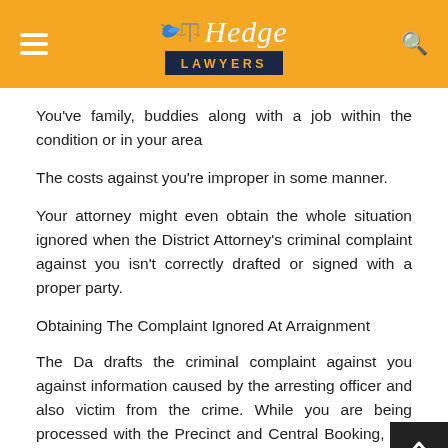Hedge Lawyers
You've family, buddies along with a job within the condition or in your area
The costs against you're improper in some manner.
Your attorney might even obtain the whole situation ignored when the District Attorney's criminal complaint against you isn't correctly drafted or signed with a proper party.
Obtaining The Complaint Ignored At Arraignment
The Da drafts the criminal complaint against you against information caused by the arresting officer and also victim from the crime. While you are being processed with the Precinct and Central Booking, the arresting officer will